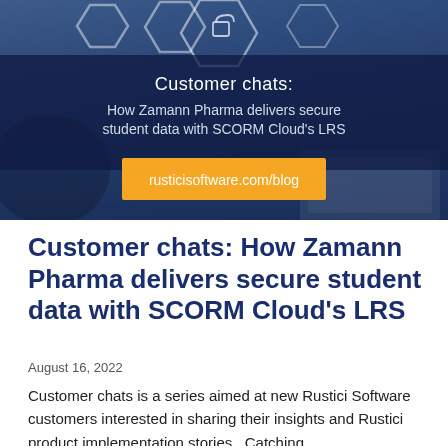[Figure (illustration): Banner image for blog post: dark navy background with hexagonal icon overlays suggesting a lock/security theme, white text reading 'Customer chats: How Zamann Pharma delivers secure student data with SCORM Cloud's LRS', and an orange button/box with 'rusticisoftware.com/blog']
Customer chats: How Zamann Pharma delivers secure student data with SCORM Cloud's LRS
August 16, 2022
Customer chats is a series aimed at new Rustici Software customers interested in sharing their insights and Rustici product implementation stories.  Catching